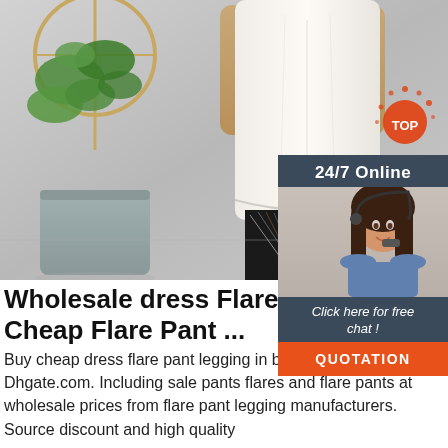[Figure (photo): Product photo of a mannequin wearing patterned leggings and a white top, with a plant in the background. A sidebar widget shows '24/7 Online' with a customer service agent photo, 'Click here for free chat!' text, and an orange QUOTATION button. A red TOP badge appears in the lower right corner of the image.]
Wholesale dress Flare Pant Legg... Cheap Flare Pant ...
Buy cheap dress flare pant legging in bulk here at Dhgate.com. Including sale pants flares and flare pants at wholesale prices from flare pant legging manufacturers. Source discount and high quality